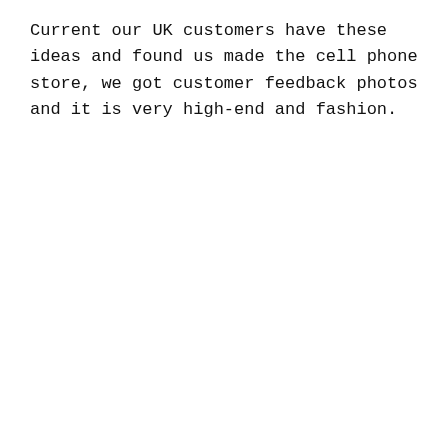Current our UK customers have these ideas and found us made the cell phone store, we got customer feedback photos and it is very high-end and fashion.